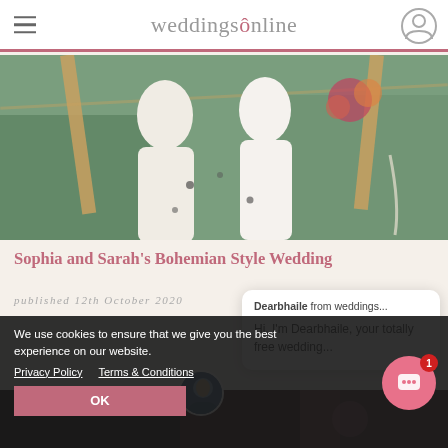weddingsonline
[Figure (photo): Two brides in white dresses holding hands outdoors at a bohemian wedding ceremony with wooden arch and floral decorations]
Sophia and Sarah's Bohemian Style Wedding
published 12th October 2020
Dearbhaile from weddings...

Hi, I'm Dearbhaile, your totally free wedding...
[Figure (photo): Dark background wedding venue or event space]
We use cookies to ensure that we give you the best experience on our website.
Privacy Policy   Terms & Conditions
OK